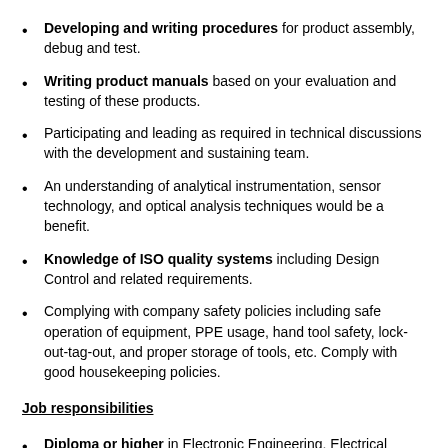Developing and writing procedures for product assembly, debug and test.
Writing product manuals based on your evaluation and testing of these products.
Participating and leading as required in technical discussions with the development and sustaining team.
An understanding of analytical instrumentation, sensor technology, and optical analysis techniques would be a benefit.
Knowledge of ISO quality systems including Design Control and related requirements.
Complying with company safety policies including safe operation of equipment, PPE usage, hand tool safety, lock-out-tag-out, and proper storage of tools, etc. Comply with good housekeeping policies.
Job responsibilities
Diploma or higher in Electronic Engineering, Electrical Engineering